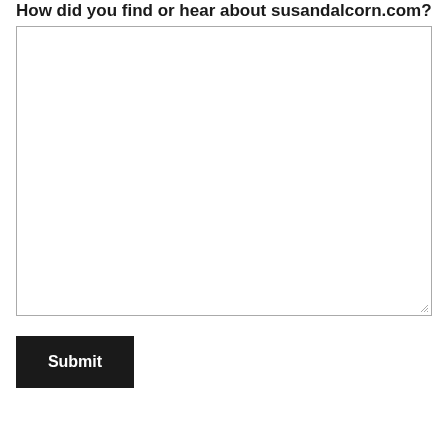How did you find or hear about susandalcorn.com?
[Figure (other): Large empty text area input field with resize handle in bottom-right corner]
Submit